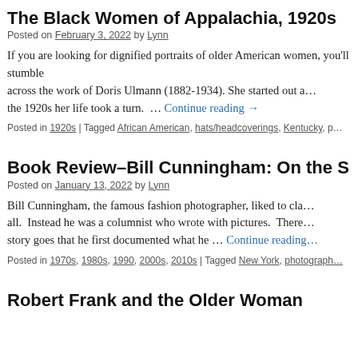The Black Women of Appalachia, 1920s
Posted on February 3, 2022 by Lynn
If you are looking for dignified portraits of older American women, you'll stumble across the work of Doris Ulmann (1882-1934). She started out as a… in the 1920s her life took a turn.  … Continue reading →
Posted in 1920s | Tagged African American, hats/headcoverings, Kentucky, p…
Book Review–Bill Cunningham: On the S…
Posted on January 13, 2022 by Lynn
Bill Cunningham, the famous fashion photographer, liked to claim he wasn't a photographer at all.  Instead he was a columnist who wrote with pictures.  There… story goes that he first documented what he … Continue reading…
Posted in 1970s, 1980s, 1990, 2000s, 2010s | Tagged New York, photograph…
Robert Frank and the Older Woman